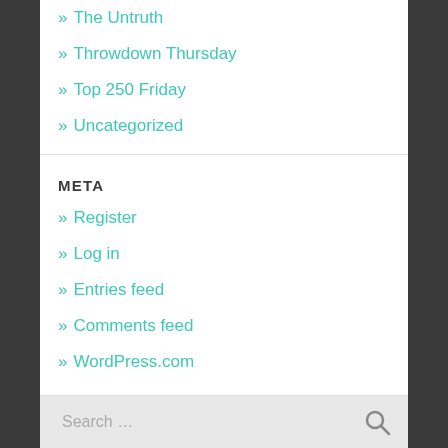» The Untruth
» Throwdown Thursday
» Top 250 Friday
» Uncategorized
META
» Register
» Log in
» Entries feed
» Comments feed
» WordPress.com
Search ...